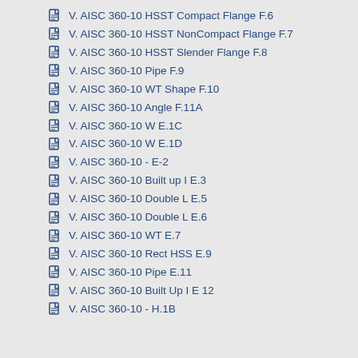V. AISC 360-10 HSST Compact Flange F.6
V. AISC 360-10 HSST NonCompact Flange F.7
V. AISC 360-10 HSST Slender Flange F.8
V. AISC 360-10 Pipe F.9
V. AISC 360-10 WT Shape F.10
V. AISC 360-10 Angle F.11A
V. AISC 360-10 W E.1C
V. AISC 360-10 W E.1D
V. AISC 360-10 - E-2
V. AISC 360-10 Built up I E.3
V. AISC 360-10 Double L E.5
V. AISC 360-10 Double L E.6
V. AISC 360-10 WT E.7
V. AISC 360-10 Rect HSS E.9
V. AISC 360-10 Pipe E.11
V. AISC 360-10 Built Up I E 12
V. AISC 360-10 - H.1B